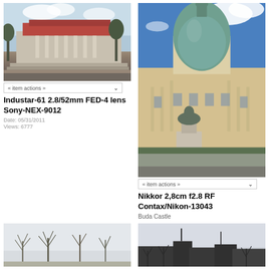[Figure (photo): European neoclassical building with red roof, columns, trees, wide steps and plaza, overcast sky]
« item actions »
Industar-61 2.8/52mm FED-4 lens Sony-NEX-9012
Date: 05/31/2011
Views: 6777
[Figure (photo): Buda Castle with green copper dome, equestrian statue, blue sky with clouds]
« item actions »
Nikkor 2,8cm f2.8 RF Contax/Nikon-13043
Buda Castle
[Figure (photo): Bare winter trees against pale sky, outdoor scene]
[Figure (photo): Dark urban silhouette of buildings against pale sky with bare trees]